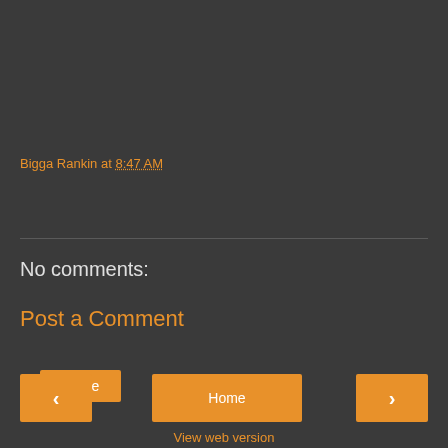Bigga Rankin at 8:47 AM
Share
No comments:
Post a Comment
❮
Home
❯
View web version
Powered by Blogger.